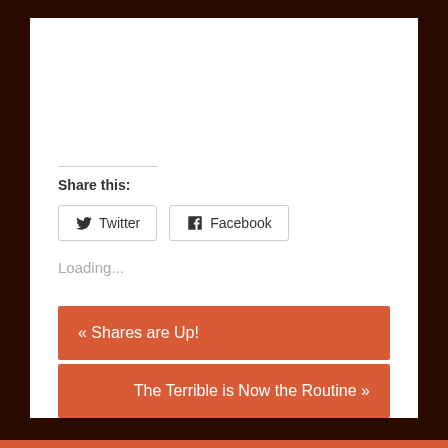Share this:
Twitter
Facebook
Loading...
« Shares are Up!
The Terrible is Now the Routine »